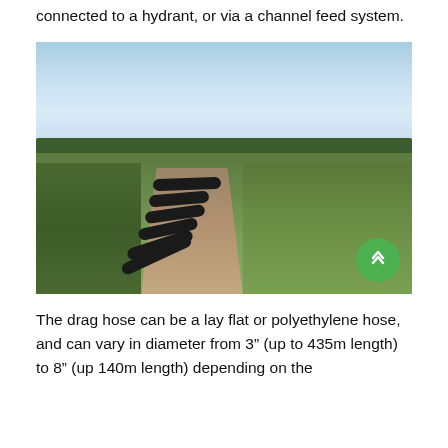connected to a hydrant, or via a channel feed system.
[Figure (photo): Aerial-level ground photograph of a large flat agricultural field with a drag hose laid along a dirt track running straight into the distance. Green grass on either side, blue sky with light clouds, and tree line on the horizon.]
The drag hose can be a lay flat or polyethylene hose, and can vary in diameter from 3" (up to 435m length) to 8" (up 140m length) depending on the